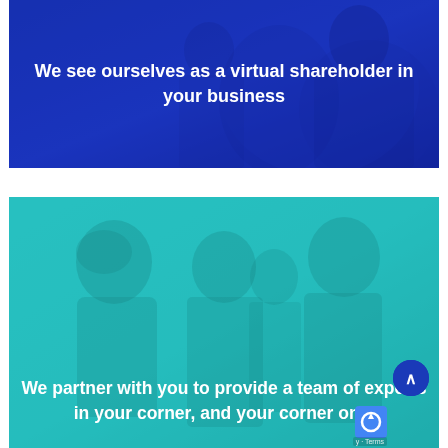[Figure (photo): Dark blue banner with business people silhouette in background, overlaid with blue tint]
We see ourselves as a virtual shareholder in your business
[Figure (photo): Teal/cyan banner with group of smiling professionals in background, overlaid with teal tint]
We partner with you to provide a team of experts in your corner, and your corner only